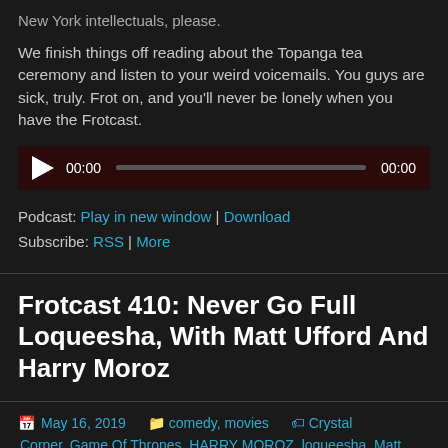New York intellectuals, please.
We finish things off reading about the Topanga tea ceremony and listen to your weird voicemails. You guys are sick, truly. Frot on, and you'll never be lonely when you have the Frotcast.
[Figure (other): Audio player widget with play button, progress bar, start time 00:00 and end time 00:00]
Podcast: Play in new window | Download
Subscribe: RSS | More
Frotcast 410: Never Go Full Loqueesha, With Matt Ufford And Harry Moroz
May 16, 2019   comedy, movies   Crystal Corner, Game Of Thrones, HARRY MOROZ, loqueesha, Matt